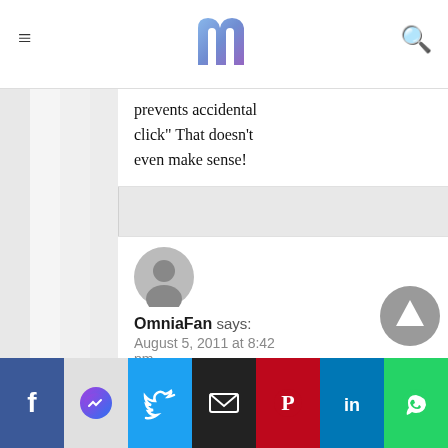m (logo)
prevents accidental click" That doesn't even make sense!
OmniaFan says:
August 5, 2011 at 8:42 pm
Btw it is a pretty funny picture: You sitting in the dark counting how fast you can open up
Share buttons: Facebook, Messenger, Twitter, Email, Pinterest, LinkedIn, WhatsApp